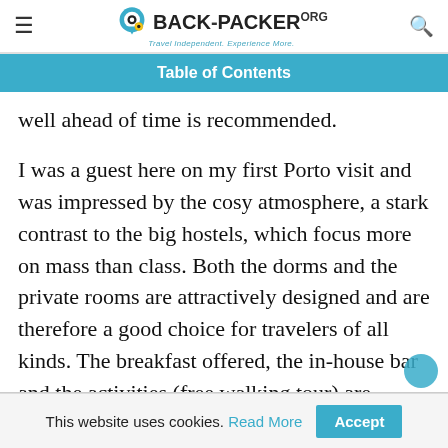BACK-PACKER.org — Travel Independent. Experience More.
Table of Contents
well ahead of time is recommended.
I was a guest here on my first Porto visit and was impressed by the cosy atmosphere, a stark contrast to the big hostels, which focus more on mass than class. Both the dorms and the private rooms are attractively designed and are therefore a good choice for travelers of all kinds. The breakfast offered, the in-house bar and the activities (free walking tour) are impressive. Highly recommended!
This website uses cookies. Read More  Accept